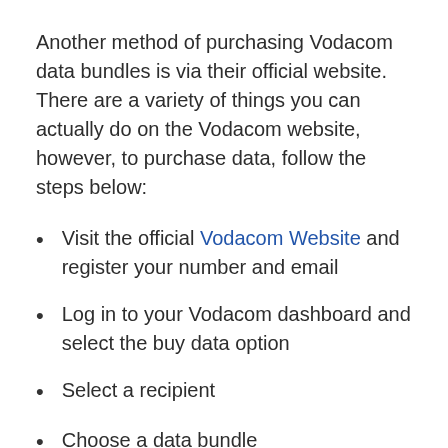Another method of purchasing Vodacom data bundles is via their official website. There are a variety of things you can actually do on the Vodacom website, however, to purchase data, follow the steps below:
Visit the official Vodacom Website and register your number and email
Log in to your Vodacom dashboard and select the buy data option
Select a recipient
Choose a data bundle
Proceed to pay for your desired data bundle using your debit and credit card